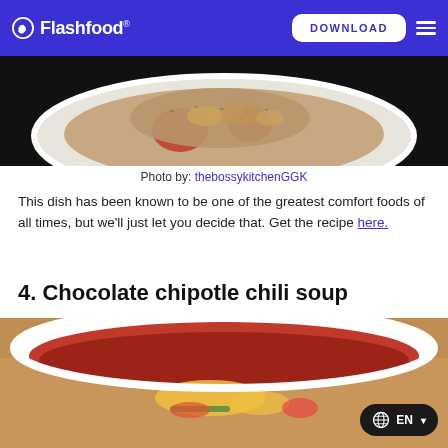Flashfood DOWNLOAD
[Figure (photo): Close-up photo of a baked dish in a white oval dish with herbed topping, tomatoes, and golden crust, on dark background]
Photo by: thebossykitchenGGK
This dish has been known to be one of the greatest comfort foods of all times, but we'll just let you decide that. Get the recipe here.
4. Chocolate chipotle chili soup
[Figure (photo): Close-up photo of chocolate chipotle chili soup in a white bowl with toppings including cheese, vegetables, on warm brown background]
EN